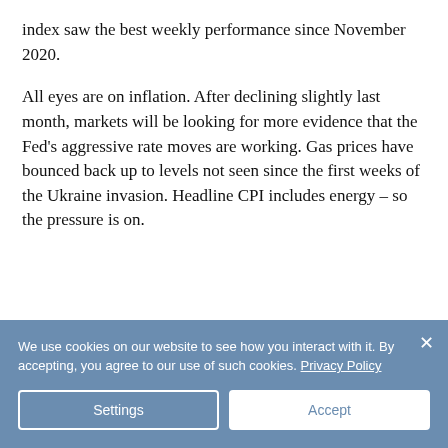index saw the best weekly performance since November 2020.
All eyes are on inflation. After declining slightly last month, markets will be looking for more evidence that the Fed's aggressive rate moves are working. Gas prices have bounced back up to levels not seen since the first weeks of the Ukraine invasion. Headline CPI includes energy – so the pressure is on.
We use cookies on our website to see how you interact with it. By accepting, you agree to our use of such cookies. Privacy Policy